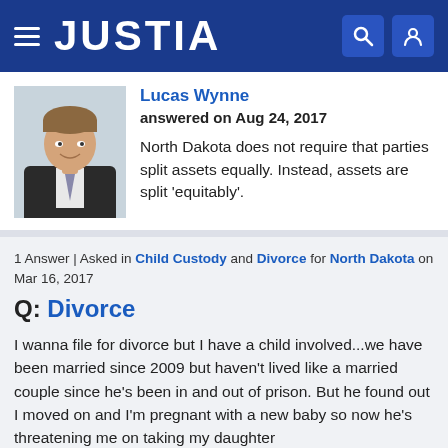JUSTIA
Lucas Wynne
answered on Aug 24, 2017

North Dakota does not require that parties split assets equally. Instead, assets are split 'equitably'.
1 Answer | Asked in Child Custody and Divorce for North Dakota on Mar 16, 2017
Q: Divorce
I wanna file for divorce but I have a child involved...we have been married since 2009 but haven't lived like a married couple since he's been in and out of prison. But he found out I moved on and I'm pregnant with a new baby so now he's threatening me on taking my daughter